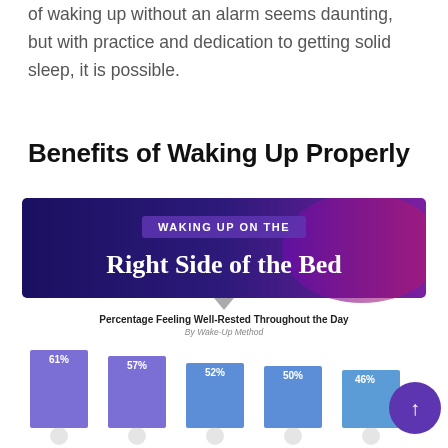of waking up without an alarm seems daunting, but with practice and dedication to getting solid sleep, it is possible.
Benefits of Waking Up Properly
[Figure (infographic): Infographic banner with dark purple/blue background reading 'WAKING UP ON THE Right Side of the Bed' with a purple rectangular label behind the smaller text and large white serif font for the main text.]
[Figure (bar-chart): Percentage Feeling Well-Rested Throughout the Day]